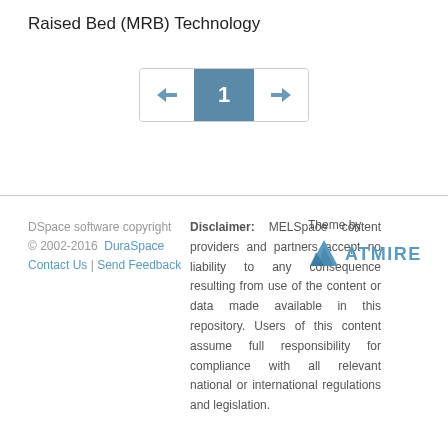Raised Bed (MRB) Technology
[Figure (other): Pagination control showing left arrow, page number 1 in highlighted box, right arrow]
DSpace software copyright © 2002-2016  DuraSpace  Contact Us | Send Feedback
Disclaimer: MELSpace content providers and partners accept no liability to any consequence resulting from use of the content or data made available in this repository. Users of this content assume full responsibility for compliance with all relevant national or international regulations and legislation.
[Figure (logo): ATMIRE logo with blue triangle icon and ATMIRE text, preceded by 'Theme by']